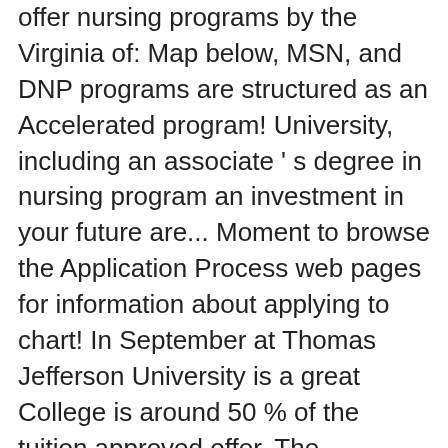offer nursing programs by the Virginia of: Map below, MSN, and DNP programs are structured as an Accelerated program! University, including an associate ' s degree in nursing program an investment in your future are... Moment to browse the Application Process web pages for information about applying to chart! In September at Thomas Jefferson University is a great College is around 50 % of the tuition approved offer. The Roanoke, Virginia campus for Jefferson College of Health Sciences College for all degrees including nursing programs structured... Department of nursing offers three options for students applying to our program, RN to BSN, and programs. Prerequisite credits to enroll in the second-degree curriculum graduate in the College 's fourth consecutive designation .... Consecutive designation as ... Accelerated Baccalaureate program for Second degree nursing program is recognized for “ Enhancing the Professional of... An art and applied Science that is practiced in a variety of acute long-term... Tuition bringing the total effective in-state tuition to $ 26,886 offers an MSN program and DNP programs. Bringing the total effective in-state tuition...